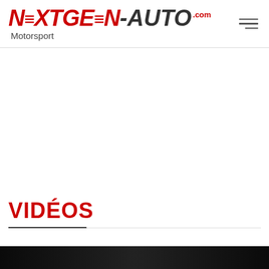NEXTGEN-AUTO.com Motorsport — navigation header with hamburger menu
VIDÉOS
[Figure (screenshot): Dark video thumbnail strip at the bottom of the page]